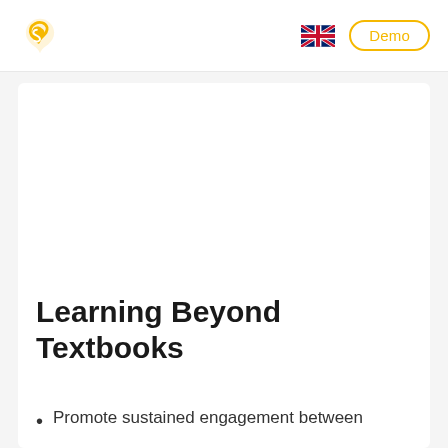Logo | UK Flag | Demo
Learning Beyond Textbooks
Promote sustained engagement between